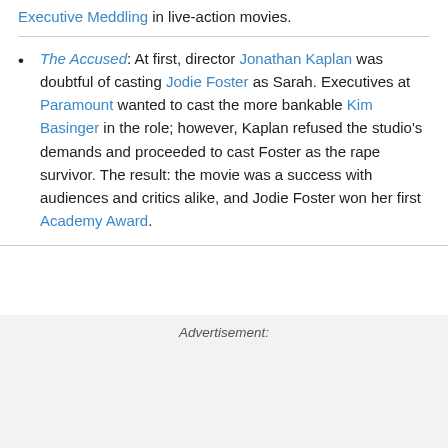Executive Meddling in live-action movies.
The Accused: At first, director Jonathan Kaplan was doubtful of casting Jodie Foster as Sarah. Executives at Paramount wanted to cast the more bankable Kim Basinger in the role; however, Kaplan refused the studio's demands and proceeded to cast Foster as the rape survivor. The result: the movie was a success with audiences and critics alike, and Jodie Foster won her first Academy Award.
Advertisement: